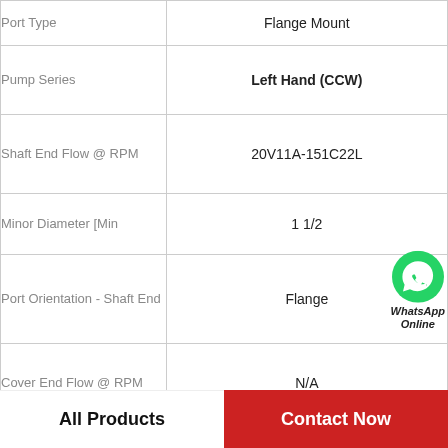| Attribute | Value |
| --- | --- |
| Port Type | Flange Mount |
| Pump Series | Left Hand (CCW) |
| Shaft End Flow @ RPM | 20V11A-151C22L |
| Minor Diameter [Min | 1 1/2 |
| Port Orientation - Shaft End | Flange |
| Cover End Flow @ RPM | N/A |
| Mounting Flange | 22 |
| Displacement Cover |  |
[Figure (logo): WhatsApp contact button with green phone icon and text 'WhatsApp Online']
All Products    Contact Now